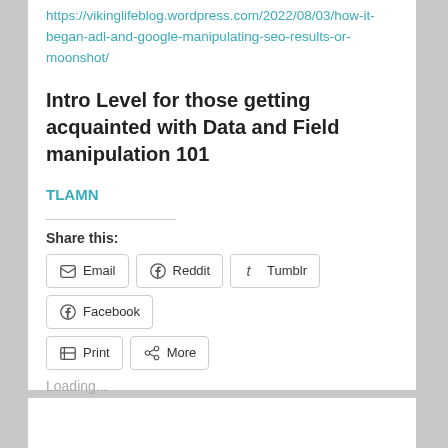https://vikinglifeblog.wordpress.com/2022/08/03/how-it-began-adl-and-google-manipulating-seo-results-or-moonshot/
Intro Level for those getting acquainted with Data and Field manipulation 101
TLAMN
Share this:
Email | Reddit | Tumblr | Facebook | Print | More
Loading...